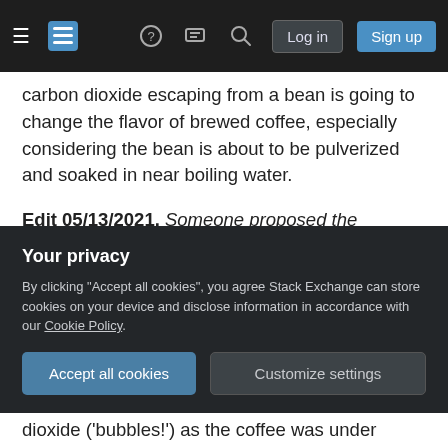Stack Exchange navigation bar with hamburger menu, logo, help, chat, search icons, and Log in / Sign up buttons
carbon dioxide escaping from a bean is going to change the flavor of brewed coffee, especially considering the bean is about to be pulverized and soaked in near boiling water.
Edit 05/13/2021. Someone proposed the following edit. I, Ben, am not a commercial roaster (not even a roaster at all in 2021!), but how could I reject the edit of a real commercial roaster?
I am also a commercial coffee roaster & although i will admit i'm not an expert at tasting & cupping
[Figure (screenshot): Privacy cookie consent overlay with title 'Your privacy', body text about cookies and Cookie Policy link, Accept all cookies button and Customize settings button]
dioxide ('bubbles!') as the coffee was under